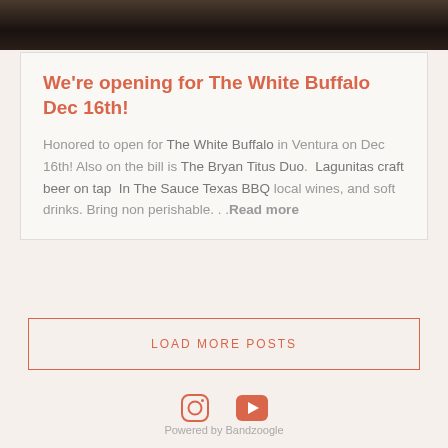[Figure (photo): Dark background image bar at top of page, showing blurred dark tones.]
We're opening for The White Buffalo Dec 16th!
Honored to open for The White Buffalo in Ventura on Dec 16th! Also on the bill is The Bryan Titus Duo.  Lagunitas craft beer on tap  In The Sauce Texas BBQ local wines, and soft drinks. Bring non perishable. . .Read more
LOAD MORE POSTS
[Figure (logo): Instagram icon and YouTube icon in salmon/coral color]
Powered by Bandzoogle